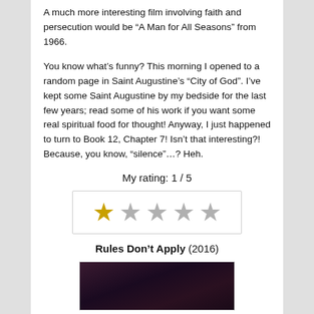A much more interesting film involving faith and persecution would be “A Man for All Seasons” from 1966.
You know what’s funny? This morning I opened to a random page in Saint Augustine’s “City of God”. I’ve kept some Saint Augustine by my bedside for the last few years; read some of his work if you want some real spiritual food for thought! Anyway, I just happened to turn to Book 12, Chapter 7! Isn’t that interesting?! Because, you know, “silence”…? Heh.
My rating: 1 / 5
[Figure (other): Star rating widget showing 1 out of 5 stars: one gold star followed by four gray stars, inside a bordered box.]
Rules Don’t Apply (2016)
[Figure (photo): Dark movie still image, showing a dimly lit scene.]